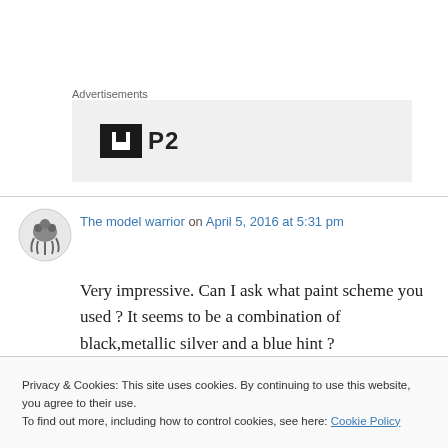Advertisements
[Figure (logo): P2 logo with black square icon and bold P2 text on a light grey advertisement background]
The model warrior on April 5, 2016 at 5:31 pm
Very impressive. Can I ask what paint scheme you used ? It seems to be a combination of black,metallic silver and a blue hint ?
Privacy & Cookies: This site uses cookies. By continuing to use this website, you agree to their use.
To find out more, including how to control cookies, see here: Cookie Policy
All correct, but light grey instead of blue